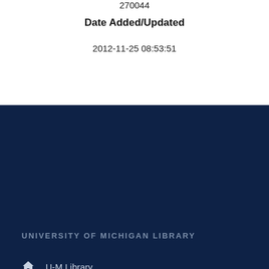270044
Date Added/Updated
2012-11-25 08:53:51
UNIVERSITY OF MICHIGAN LIBRARY
U-M Library
Accessibility
Library Privacy Statement
DIGITAL COLLECTIONS
Browse all digital collections